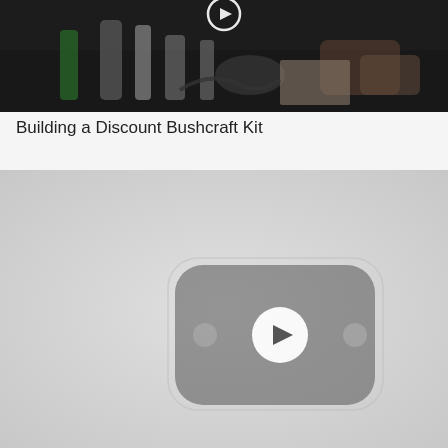[Figure (screenshot): Video thumbnail showing various items/bottles on a dark table with a play button overlay at the top]
Building a Discount Bushcraft Kit
[Figure (screenshot): YouTube video placeholder with gray background showing a YouTube logo/player icon in the center]